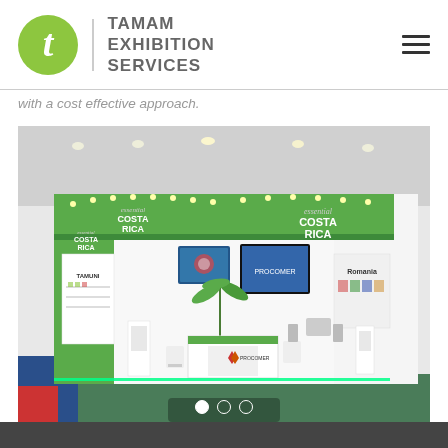[Figure (logo): Tamam Exhibition Services logo: green circle with white letter T, vertical divider, bold grey text reading TAMAM EXHIBITION SERVICES]
with a cost effective approach.
[Figure (photo): Exhibition booth for Costa Rica (Procomer) at a trade show. Booth features white and green design with 'essential COSTA RICA' branding on two large header panels. Interior displays various product shelves, screens, seating, and a reception desk with the Procomer logo. Romania booth visible in background right. Blue carpet flooring with green LED accent lighting.]
[Figure (other): Carousel navigation dots: one filled white circle (active) followed by two empty circles]